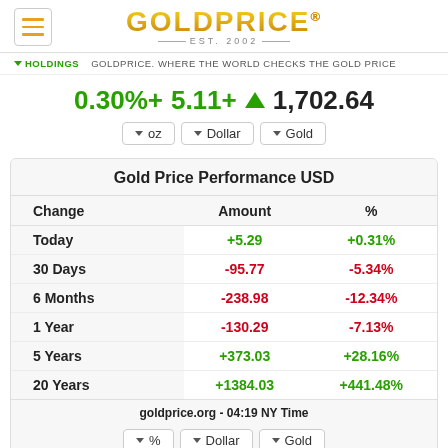GOLDPRICE® EST. 2002
HOLDINGS  GOLDPRICE. WHERE THE WORLD CHECKS THE GOLD PRICE
0.30%+  5.11+  ▲  1,702.64
| Change | Amount | % |
| --- | --- | --- |
| Today | +5.29 | +0.31% |
| 30 Days | -95.77 | -5.34% |
| 6 Months | -238.98 | -12.34% |
| 1 Year | -130.29 | -7.13% |
| 5 Years | +373.03 | +28.16% |
| 20 Years | +1384.03 | +441.48% |
goldprice.org - 04:19 NY Time